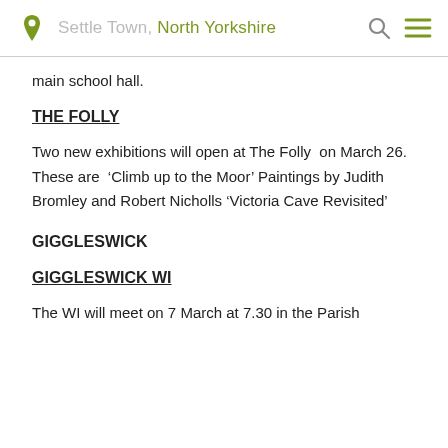Settle Town, North Yorkshire
main school hall.
THE FOLLY
Two new exhibitions will open at The Folly  on March 26. These are  ‘Climb up to the Moor’ Paintings by Judith Bromley and Robert Nicholls ‘Victoria Cave Revisited’
GIGGLESWICK
GIGGLESWICK WI
The WI will meet on 7 March at 7.30 in the Parish...